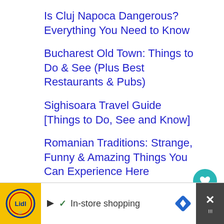Is Cluj Napoca Dangerous? Everything You Need to Know
Bucharest Old Town: Things to Do & See (Plus Best Restaurants & Pubs)
Sighisoara Travel Guide [Things to Do, See and Know]
Romanian Traditions: Strange, Funny & Amazing Things You Can Experience Here
Latest Comments
C. the Romanian on Romanian Culture: